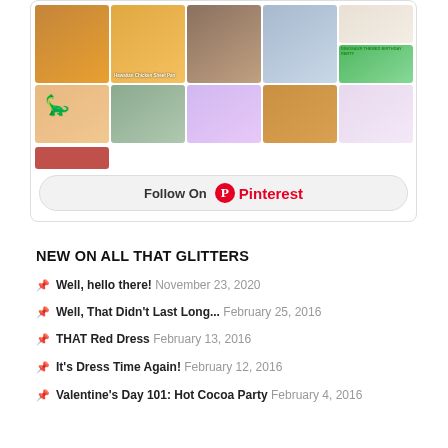[Figure (screenshot): Pinterest widget showing a grid of pinned images including food, party, and children photos, with a 'Follow On Pinterest' button at the bottom]
NEW ON ALL THAT GLITTERS
Well, hello there! November 23, 2020
Well, That Didn't Last Long... February 25, 2016
THAT Red Dress February 13, 2016
It's Dress Time Again! February 12, 2016
Valentine's Day 101: Hot Cocoa Party February 4, 2016